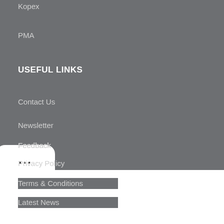Kopex
PMA
USEFUL LINKS
Contact Us
Newsletter
Feedback
Privacy Policy
Terms & Conditions
Latest News
We use cookies to improve your experience on our website. By browsing this website, you agree to our use of cookies.
MORE INFO
ACCEPT